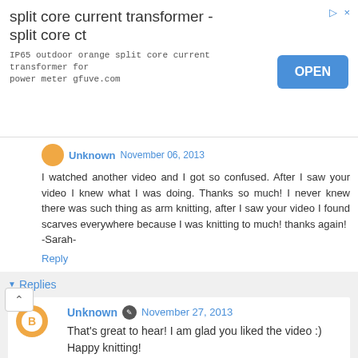[Figure (screenshot): Advertisement banner for 'split core current transformer - split core ct' with blue OPEN button and ad icons]
Unknown November 06, 2013
I watched another video and I got so confused. After I saw your video I knew what I was doing. Thanks so much! I never knew there was such thing as arm knitting, after I saw your video I found scarves everywhere because I was knitting to much! thanks again!
-Sarah-
Reply
Replies
Unknown November 27, 2013
That's great to hear! I am glad you liked the video :) Happy knitting!
Reply